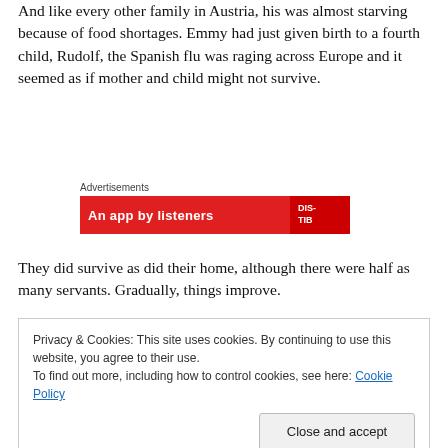And like every other family in Austria, his was almost starving because of food shortages. Emmy had just given birth to a fourth child, Rudolf, the Spanish flu was raging across Europe and it seemed as if mother and child might not survive.
[Figure (other): Advertisement banner with red background showing 'An app by listeners' text and a logo]
They did survive as did their home, although there were half as many servants. Gradually, things improve.
Privacy & Cookies: This site uses cookies. By continuing to use this website, you agree to their use.
To find out more, including how to control cookies, see here: Cookie Policy

Close and accept